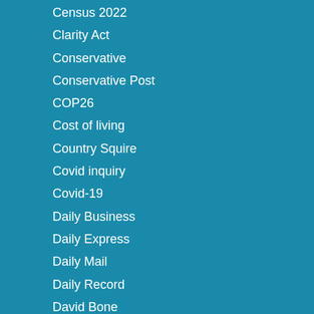Census 2022
Clarity Act
Conservative
Conservative Post
COP26
Cost of living
Country Squire
Covid inquiry
Covid-19
Daily Business
Daily Express
Daily Mail
Daily Record
David Bone
Defence Matters
Dennis Grattan
Douglas Cowe